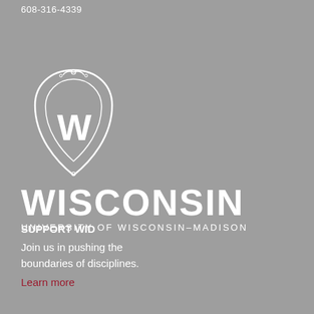608-316-4339
[Figure (logo): University of Wisconsin-Madison crest/shield logo in white, with W monogram inside an ornate shield shape, above the text WISCONSIN and UNIVERSITY OF WISCONSIN-MADISON]
SUPPORT WID
Join us in pushing the boundaries of disciplines.
Learn more